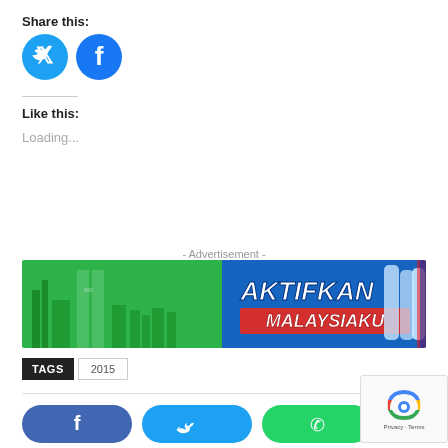Share this:
[Figure (illustration): Twitter bird icon (blue circle) and Facebook 'f' icon (blue circle) as social share buttons]
Like this:
Loading...
- Advertisement -
[Figure (illustration): Aktifkan Malaysiaku advertisement banner — green background with Kuala Lumpur skyline on left, blue section with 'AKTIFKAN MALAYSIAKU' text in white/red, water bottles on right]
TAGS   2015
[Figure (illustration): Bottom social share buttons: Facebook (blue rounded), Twitter (cyan rounded), WhatsApp (green rounded)]
[Figure (other): Google reCAPTCHA widget overlay with Privacy - Terms text]